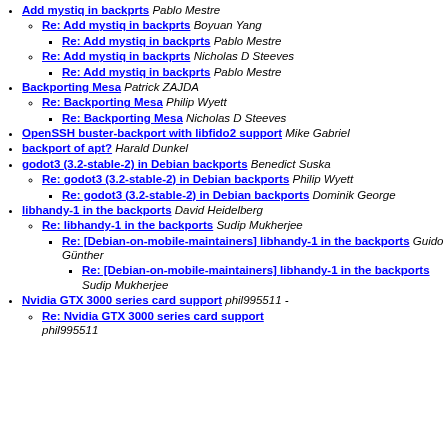Add mystiq in backprts Pablo Mestre
Re: Add mystiq in backprts Boyuan Yang
Re: Add mystiq in backprts Pablo Mestre
Re: Add mystiq in backprts Nicholas D Steeves
Re: Add mystiq in backprts Pablo Mestre
Backporting Mesa Patrick ZAJDA
Re: Backporting Mesa Philip Wyett
Re: Backporting Mesa Nicholas D Steeves
OpenSSH buster-backport with libfido2 support Mike Gabriel
backport of apt? Harald Dunkel
godot3 (3.2-stable-2) in Debian backports Benedict Suska
Re: godot3 (3.2-stable-2) in Debian backports Philip Wyett
Re: godot3 (3.2-stable-2) in Debian backports Dominik George
libhandy-1 in the backports David Heidelberg
Re: libhandy-1 in the backports Sudip Mukherjee
Re: [Debian-on-mobile-maintainers] libhandy-1 in the backports Guido Günther
Re: [Debian-on-mobile-maintainers] libhandy-1 in the backports Sudip Mukherjee
Nvidia GTX 3000 series card support phil995511 -
Re: Nvidia GTX 3000 series card support phil995511